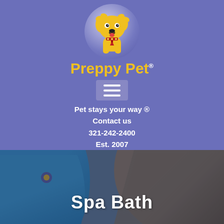[Figure (logo): Preppy Pet logo — yellow cartoon dog inside a blue-gray circle above the brand name 'Preppy Pet' with yellow and red lettering]
Preppy Pet®
[Figure (other): Hamburger menu button (three horizontal white lines on a blue-gray rectangle)]
Pet stays your way ®
Contact us
321-242-2400
Est. 2007
[Figure (photo): Background photo of a person in a teal/blue Preppy Pet uniform shirt grooming or handling a dark-colored dog. Text overlay reads 'Spa Bath'.]
Spa Bath